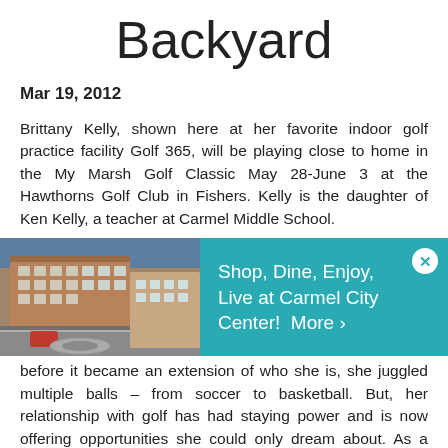Backyard
Mar 19, 2012
Brittany Kelly, shown here at her favorite indoor golf practice facility Golf 365, will be playing close to home in the My Marsh Golf Classic May 28-June 3 at the Hawthorns Golf Club in Fishers. Kelly is the daughter of Ken Kelly, a teacher at Carmel Middle School.
[Figure (photo): Advertisement banner: photo of Carmel City Center on left, teal banner reading 'Shop, Dine, Enjoy, Live at Carmel City Center! More ›' on right with close button]
before it became an extension of who she is, she juggled multiple balls – from soccer to basketball. But, her relationship with golf has had staying power and is now offering opportunities she could only dream about. As a member of the Symetra Tour player marketing team, she has been chosen as spokeswoman for the My Marsh Golf Classic, a $100,000 purse world-class women's golf event, scheduled to be held at The Hawthorns Golf and Country Club in Fishers May 28-June 3.